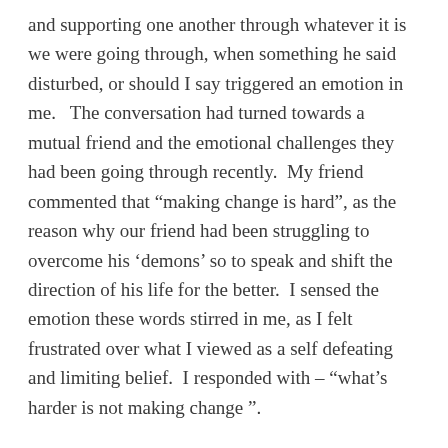and supporting one another through whatever it is we were going through, when something he said disturbed, or should I say triggered an emotion in me.   The conversation had turned towards a mutual friend and the emotional challenges they had been going through recently.  My friend commented that “making change is hard”, as the reason why our friend had been struggling to overcome his ‘demons’ so to speak and shift the direction of his life for the better.  I sensed the emotion these words stirred in me, as I felt frustrated over what I viewed as a self defeating and limiting belief.  I responded with – “what’s harder is not making change ”.

I view the discomfort we can feel around the